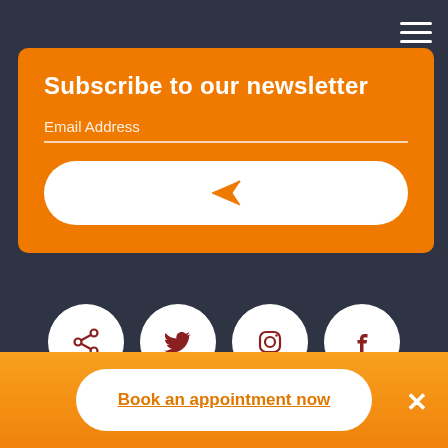[Figure (screenshot): Hamburger menu icon (three horizontal white lines) in top-right corner on dark background]
Subscribe to our newsletter
Email Address
[Figure (illustration): White rounded rectangle submit button with orange paper plane (send) icon in center]
[Figure (illustration): Four white circular social media icon buttons: share, Twitter, Instagram, Facebook]
Book an appointment now